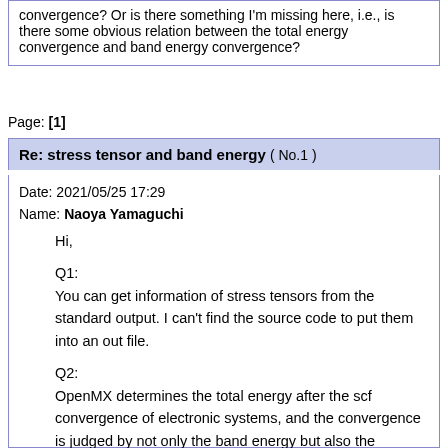convergence? Or is there something I'm missing here, i.e., is there some obvious relation between the total energy convergence and band energy convergence?
Page: [1]
Re: stress tensor and band energy ( No.1 )
Date: 2021/05/25 17:29
Name: Naoya Yamaguchi
Hi,

Q1:
You can get information of stress tensors from the standard output. I can't find the source code to put them into an out file.

Q2:
OpenMX determines the total energy after the scf convergence of electronic systems, and the convergence is judged by not only the band energy but also the residual norm between the input and output charge densities.